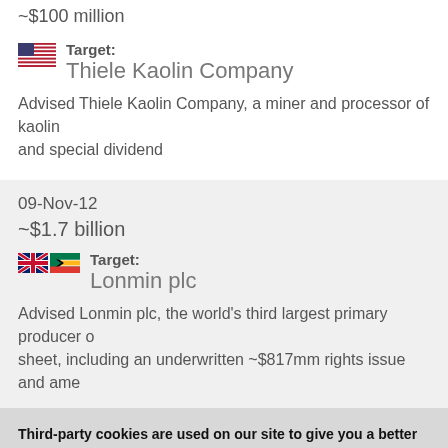~$100 million
[Figure (illustration): US flag icon next to Target label]
Target: Thiele Kaolin Company
Advised Thiele Kaolin Company, a miner and processor of kaolin and special dividend
09-Nov-12
~$1.7 billion
[Figure (illustration): UK and South Africa flag icons next to Target label]
Target: Lonmin plc
Advised Lonmin plc, the world's third largest primary producer o... sheet, including an underwritten ~$817mm rights issue and ame...
Third-party cookies are used on our site to give you a better user experience and to monitor and improve the performance of the site.  You may change your cookie setting at any time from the Privacy Policy.